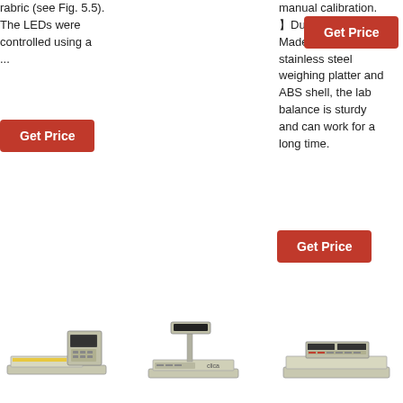rabric (see Fig. 5.5). The LEDs were controlled using a ...
[Figure (other): Red 'Get Price' button (top right area)]
manual calibration. 】Durable&Study【 Made up of stainless steel weighing platter and ABS shell, the lab balance is sturdy and can work for a long time.
[Figure (other): Red 'Get Price' button (left lower area)]
[Figure (other): Red 'Get Price' button (right lower area)]
[Figure (photo): Three weighing scales/balances shown in a row at the bottom of the page]